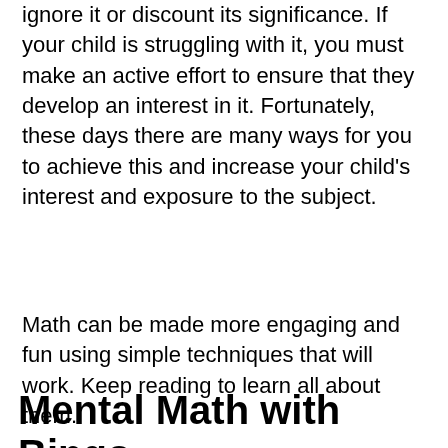ignore it or discount its significance. If your child is struggling with it, you must make an active effort to ensure that they develop an interest in it. Fortunately, these days there are many ways for you to achieve this and increase your child's interest and exposure to the subject.
Math can be made more engaging and fun using simple techniques that will work. Keep reading to learn all about them.
Mental Math with Bingo